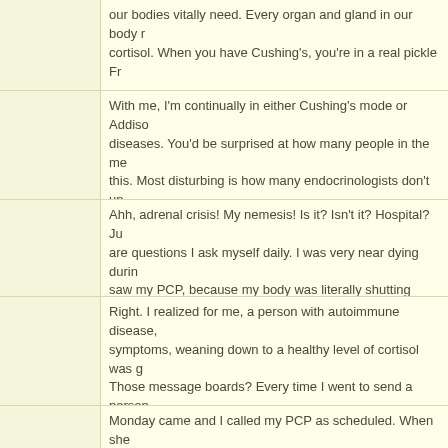our bodies vitally need. Every organ and gland in our body r... cortisol. When you have Cushing's, you're in a real pickle Fr...
With me, I'm continually in either Cushing's mode or Addison... diseases. You'd be surprised at how many people in the me... this. Most disturbing is how many endocrinologists don't und... high levels of cortisol so when I try to wean off and my body... needs surgery, etc., I go into adrenal insufficiency with the cl...
Ahh, adrenal crisis! My nemesis! Is it? Isn't it? Hospital? Jus... are questions I ask myself daily. I was very near dying durin... saw my PCP, because my body was literally shutting down. ... didn't die.
Right. I realized for me, a person with autoimmune disease,... symptoms, weaning down to a healthy level of cortisol was g... Those message boards? Every time I went to send a person... I could relate to in experience, they were dead. Dead. Young... many doctors who thought that they too, were fat and depre...
Monday came and I called my PCP as scheduled. When she... acted as if she didn't know why I was calling. Before a minut... getting as far away from admitting I had Cushing's Syndrom... my rheumatologist had been prescribing me prednisone with...